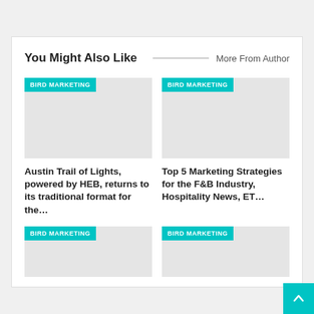You Might Also Like
More From Author
[Figure (photo): Article thumbnail placeholder with BIRD MARKETING badge - left top]
Austin Trail of Lights, powered by HEB, returns to its traditional format for the…
[Figure (photo): Article thumbnail placeholder with BIRD MARKETING badge - right top]
Top 5 Marketing Strategies for the F&B Industry, Hospitality News, ET…
[Figure (photo): Article thumbnail placeholder with BIRD MARKETING badge - left bottom]
[Figure (photo): Article thumbnail placeholder with BIRD MARKETING badge - right bottom]